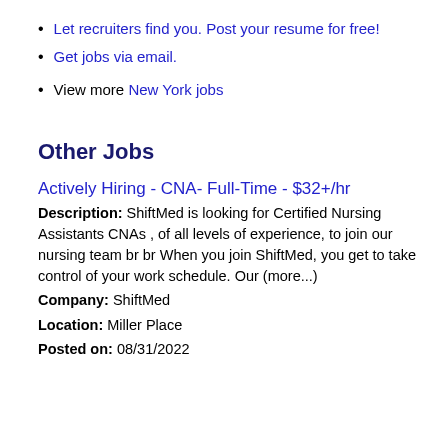Let recruiters find you. Post your resume for free!
Get jobs via email.
View more New York jobs
Other Jobs
Actively Hiring - CNA- Full-Time - $32+/hr
Description: ShiftMed is looking for Certified Nursing Assistants CNAs , of all levels of experience, to join our nursing team br br When you join ShiftMed, you get to take control of your work schedule. Our (more...)
Company: ShiftMed
Location: Miller Place
Posted on: 08/31/2022